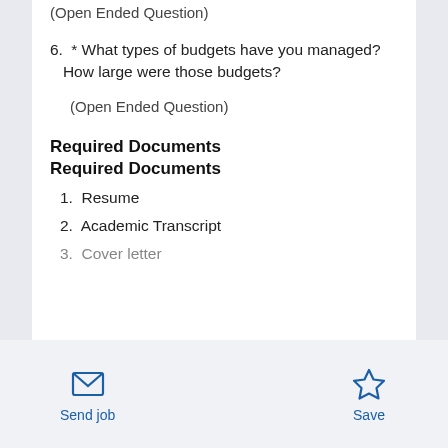(Open Ended Question)
6. * What types of budgets have you managed? How large were those budgets?
(Open Ended Question)
Required Documents
Required Documents
1. Resume
2. Academic Transcript
3. Cover letter